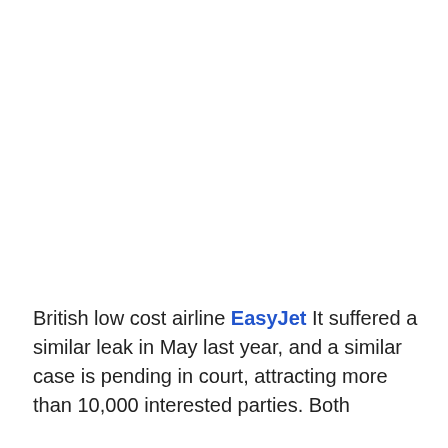British low cost airline EasyJet It suffered a similar leak in May last year, and a similar case is pending in court, attracting more than 10,000 interested parties. Both